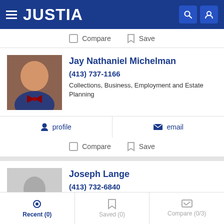JUSTIA
Compare  Save
Jay Nathaniel Michelman
(413) 737-1166
Collections, Business, Employment and Estate Planning
profile   email
Compare  Save
Joseph Lange
(413) 732-6840
Collections, Bankruptcy, Business and Real Estate
Recent (0)  Saved (0)  Compare (0/3)